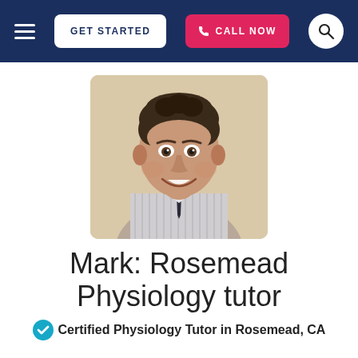GET STARTED | CALL NOW
[Figure (photo): Portrait photo of Mark, a young man with short dark hair wearing a striped dress shirt and dark tie, smiling at the camera against a light beige background.]
Mark: Rosemead Physiology tutor
Certified Physiology Tutor in Rosemead, CA